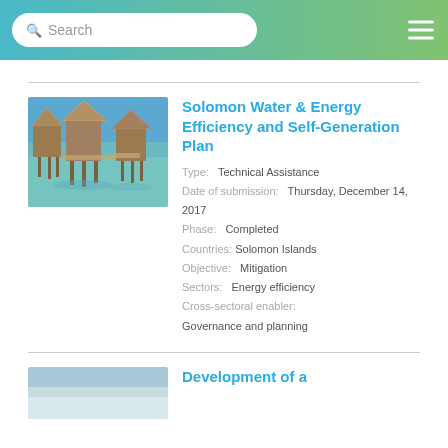Search
[Figure (photo): Traditional stilt houses over turquoise water, Solomon Islands]
Solomon Water & Energy Efficiency and Self-Generation Plan
Type: Technical Assistance
Date of submission: Thursday, December 14, 2017
Phase: Completed
Countries: Solomon Islands
Objective: Mitigation
Sectors: Energy efficiency
Cross-sectoral enabler: Governance and planning
[Figure (photo): Partial view of second card image]
Development of a